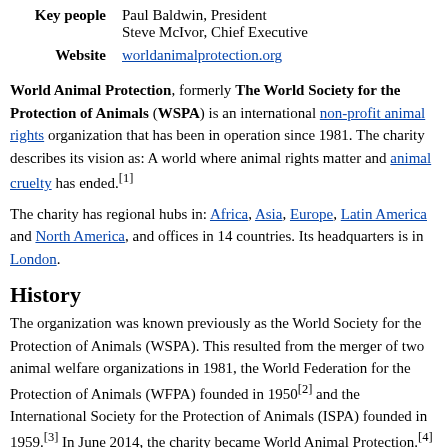| Key people | Paul Baldwin, President
Steve McIvor, Chief Executive |
| Website | worldanimalprotection.org |
World Animal Protection, formerly The World Society for the Protection of Animals (WSPA) is an international non-profit animal rights organization that has been in operation since 1981. The charity describes its vision as: A world where animal rights matter and animal cruelty has ended.[1]
The charity has regional hubs in: Africa, Asia, Europe, Latin America and North America, and offices in 14 countries. Its headquarters is in London.
History
The organization was known previously as the World Society for the Protection of Animals (WSPA). This resulted from the merger of two animal welfare organizations in 1981, the World Federation for the Protection of Animals (WFPA) founded in 1950[2] and the International Society for the Protection of Animals (ISPA) founded in 1959.[3] In June 2014, the charity became World Animal Protection.[4]